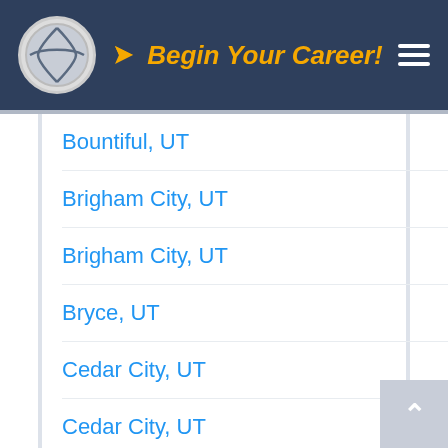Begin Your Career!
Bountiful, UT
Brigham City, UT
Brigham City, UT
Bryce, UT
Cedar City, UT
Cedar City, UT
Cedar Hills, UT
Centerville, UT
Centerville, UT